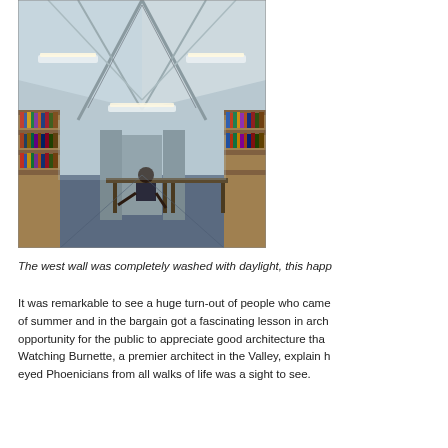[Figure (photo): Interior of a library with bookshelves lining both sides, a person seated at a table in the middle background, and a dramatic geometric ceiling structure with hanging lights and translucent panels.]
The west wall was completely washed with daylight, this happ
It was remarkable to see a huge turn-out of people who came of summer and in the bargain got a fascinating lesson in arch opportunity for the public to appreciate good architecture tha Watching Burnette, a premier architect in the Valley, explain h eyed Phoenicians from all walks of life was a sight to see.